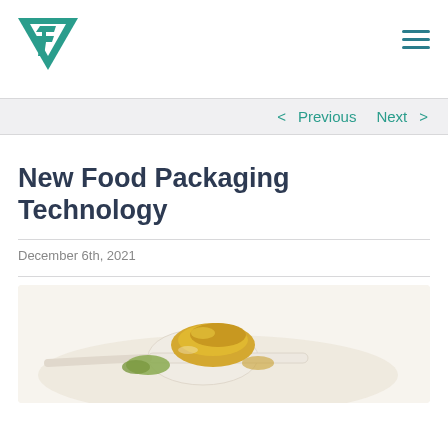< Previous   Next >
New Food Packaging Technology
December 6th, 2021
[Figure (photo): A white spoon with yellow and green spice powders (turmeric and herbs) on a white background]